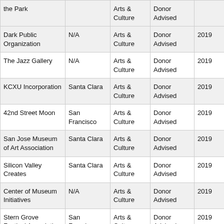|  |  | Arts & Culture | Donor Advised |  |  |
| --- | --- | --- | --- | --- | --- |
| the Park |  | Arts & Culture | Donor Advised |  |  |
| Dark Public Organization | N/A | Arts & Culture | Donor Advised | 2019 |  |
| The Jazz Gallery | N/A | Arts & Culture | Donor Advised | 2019 |  |
| KCXU Incorporation | Santa Clara | Arts & Culture | Donor Advised | 2019 |  |
| 42nd Street Moon | San Francisco | Arts & Culture | Donor Advised | 2019 |  |
| San Jose Museum of Art Association | Santa Clara | Arts & Culture | Donor Advised | 2019 |  |
| Silicon Valley Creates | Santa Clara | Arts & Culture | Donor Advised | 2019 |  |
| Center of Museum Initiatives | N/A | Arts & Culture | Donor Advised | 2019 |  |
| Stern Grove Festival Association | San Francisco | Arts & Culture | Donor Advised | 2019 |  |